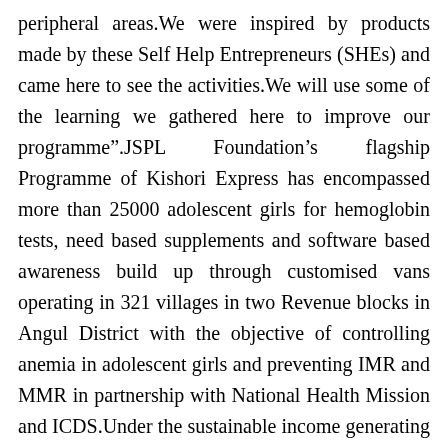peripheral areas.We were inspired by products made by these Self Help Entrepreneurs (SHEs) and came here to see the activities.We will use some of the learning we gathered here to improve our programme”.JSPL Foundation’s flagship Programme of Kishori Express has encompassed more than 25000 adolescent girls for hemoglobin tests, need based supplements and software based awareness build up through customised vans operating in 321 villages in two Revenue blocks in Angul District with the objective of controlling anemia in adolescent girls and preventing IMR and MMR in partnership with National Health Mission and ICDS.Under the sustainable income generating projects, JSPL has promoted women SHGs to manufacture low cost sanitary napkin under the name of ‘Sshodashi’.It is being provided to young girls through Kishori Express and other channels to improve their access to better menstrual hygiene. Through the Eco-Spa unit, rural Women SHGs produce high quality body care products from locally grown fruits, vegetables and herbs.Backyard herbal gardens are developed where women grow the aloe-